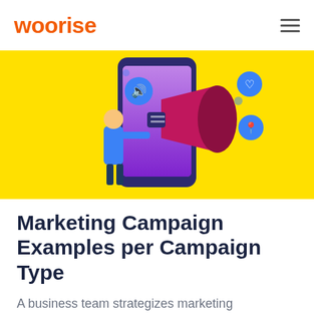Woorise
[Figure (illustration): Marketing illustration showing a person holding a megaphone next to a smartphone, with social media icons floating around, on a yellow background]
Marketing Campaign Examples per Campaign Type
A business team strategizes marketing campaigns to promote company goals, raise awareness about a new product, or capture customer feedback. Typically, they aim to reach targeted consumers in many ways